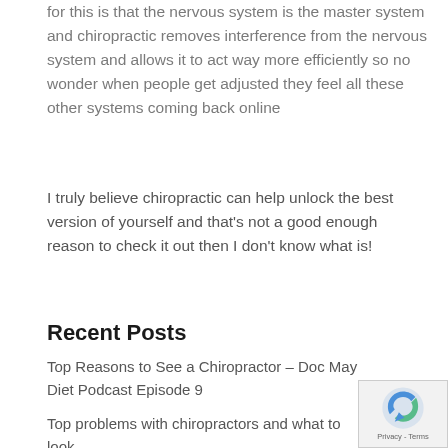for this is that the nervous system is the master system and chiropractic removes interference from the nervous system and allows it to act way more efficiently so no wonder when people get adjusted they feel all these other systems coming back online
I truly believe chiropractic can help unlock the best version of yourself and that's not a good enough reason to check it out then I don't know what is!
Recent Posts
Top Reasons to See a Chiropractor – Doc May Diet Podcast Episode 9
Top problems with chiropractors and what to look